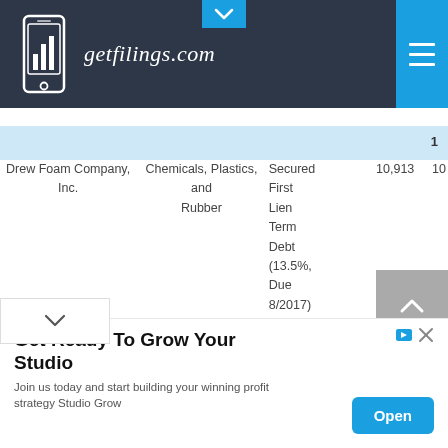[Figure (logo): getfilings.com logo with mobile phone icon showing bar chart, white on dark background]
| Company | Industry | Investment Type | Value | ... |
| --- | --- | --- | --- | --- |
| Drew Foam Company, Inc. | Chemicals, Plastics, and Rubber | Secured First Lien Term Debt (13.5%, Due 8/2017) | 10,913 | 10... |
[Figure (infographic): Advertisement banner: Get Ready To Grow Your Studio - Join us today and start building your winning profit strategy Studio Grow. Open button in blue.]